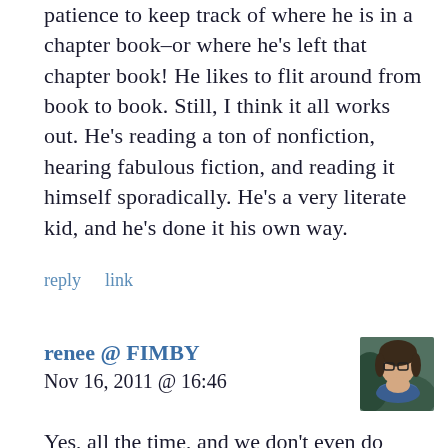Sometimes I think he doesn't have the patience to keep track of where he is in a chapter book–or where he's left that chapter book! He likes to flit around from book to book. Still, I think it all works out. He's reading a ton of nonfiction, hearing fabulous fiction, and reading it himself sporadically. He's a very literate kid, and he's done it his own way.
reply   link
renee @ FIMBY
Nov 16, 2011 @ 16:46
[Figure (photo): Avatar photo of renee @ FIMBY, a woman with glasses and a blue scarf]
Yes, all the time, and we don't even do much